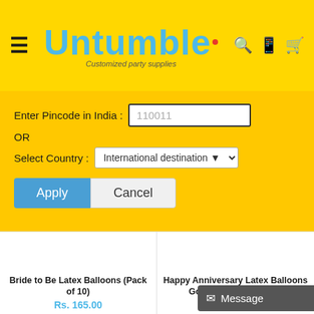[Figure (screenshot): Untumble website header with hamburger menu icon on left, Untumble logo in center (blue cursive text with tagline 'Customized party supplies'), and search, WhatsApp, and cart icons on right, all on yellow background]
[Figure (screenshot): Yellow panel with pincode entry form: 'Enter Pincode in India:' text input showing 110011, OR text, 'Select Country:' dropdown showing 'International destination', Apply (blue) and Cancel buttons]
Bride to Be Latex Balloons (Pack of 10)
Rs. 165.00
Happy Anniversary Latex Balloons Gold & Black Set of 10
Message